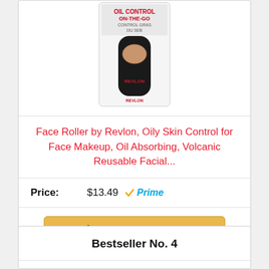[Figure (photo): Revlon Oil Control On-The-Go face roller product in black packaging with skin tone roller ball, shown in retail blister packaging]
Face Roller by Revlon, Oily Skin Control for Face Makeup, Oil Absorbing, Volcanic Reusable Facial...
Price: $13.49 Prime
Buy on Amazon
Bestseller No. 4
[Figure (photo): Partial view of next product image at bottom of page]